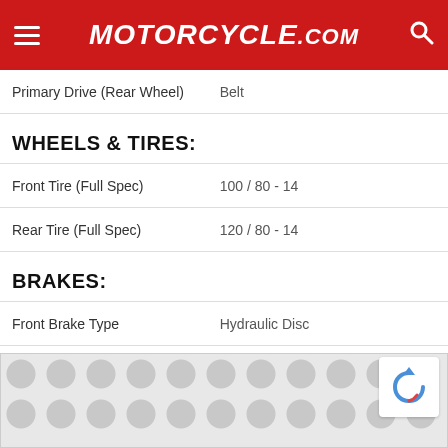Motorcycle.com
| Specification | Value |
| --- | --- |
| Primary Drive (Rear Wheel) | Belt |
| Front Tire (Full Spec) | 100 / 80 - 14 |
| Rear Tire (Full Spec) | 120 / 80 - 14 |
| Front Brake Type | Hydraulic Disc |
| Rear Brake Type | Drum |
| Wheelbase (in/mm) | 53.7 / 1364 |
| Fuel Capacity (gal/l) | 1.2 / 4.8 |
[Figure (other): Advertisement or CAPTCHA overlay banner at bottom of page]